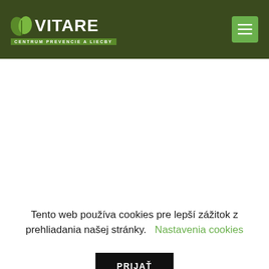[Figure (logo): Vitare logo with green leaf icon and text 'VITARE CENTRUM PREVENCIE A LIECBY' on dark olive green background header with green hamburger menu button]
Tento web používa cookies pre lepší zážitok z prehliadania našej stránky. Nastavenia cookies
PRIJAŤ